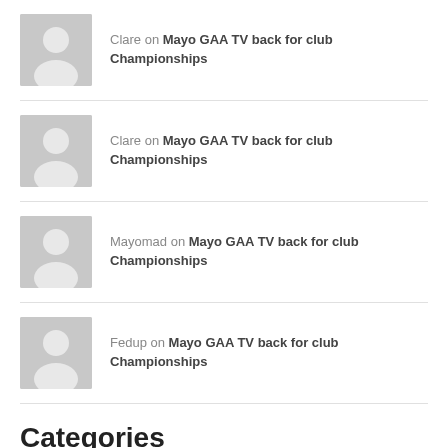Clare on Mayo GAA TV back for club Championships
Clare on Mayo GAA TV back for club Championships
Mayomad on Mayo GAA TV back for club Championships
Fedup on Mayo GAA TV back for club Championships
Categories